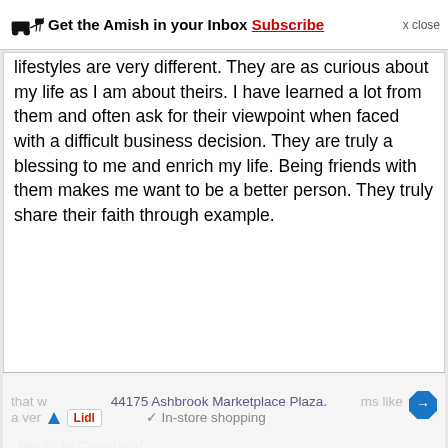Get the Amish in your Inbox Subscribe x close
lifestyles are very different. They are as curious about my life as I am about theirs. I have learned a lot from them and often ask for their viewpoint when faced with a difficult business decision. They are truly a blessing to me and enrich my life. Being friends with them makes me want to be a better person. They truly share their faith through example.
Reply to Comment
lanore
Comment on Amish Friends (June 16th, 2011 at 12:18)
Amish Friends
I would love to have an Amish Friend. I have so much respect for how they live and sometimes wish I could live that way. It seems like a very...